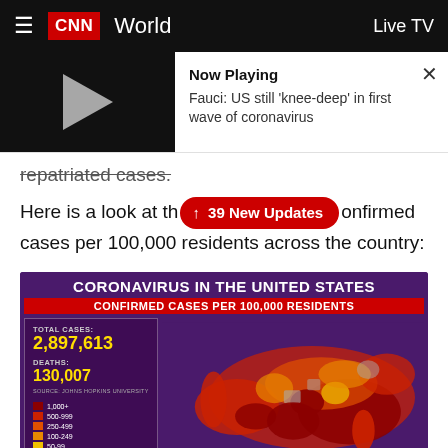CNN World   Live TV
[Figure (screenshot): Video player thumbnail showing a now playing bar: 'Fauci: US still knee-deep in first wave of coronavirus']
repatriated cases.
Here is a look at the [39 New Updates] confirmed cases per 100,000 residents across the country:
[Figure (map): Coronavirus in the United States - Confirmed cases per 100,000 residents. Choropleth map of US counties. Total cases: 2,897,613. Deaths: 130,007. Source: Johns Hopkins University. Legend: 1,000+ (dark red), 500-999, 250-499, 100-249, 50-99, 1-49 (pale yellow).]